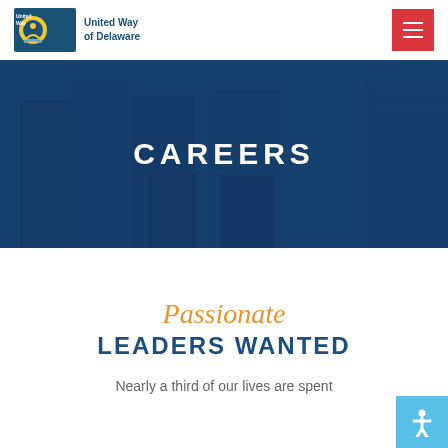[Figure (logo): United Way of Delaware logo with shield emblem and text 'United Way of Delaware']
CAREERS
Passionate LEADERS WANTED
Nearly a third of our lives are spent